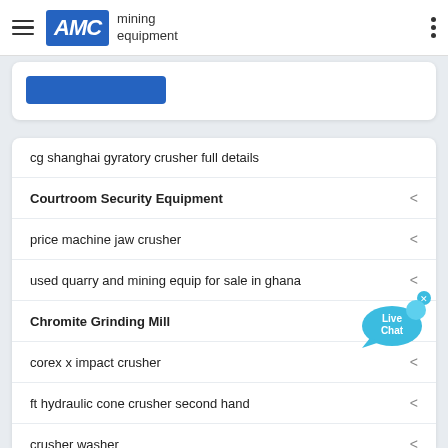AMC mining equipment
[Figure (screenshot): Partial cropped card with blue button from previous page section]
cg shanghai gyratory crusher full details
Courtroom Security Equipment
price machine jaw crusher
used quarry and mining equip for sale in ghana
Chromite Grinding Mill
corex x impact crusher
ft hydraulic cone crusher second hand
crusher washer